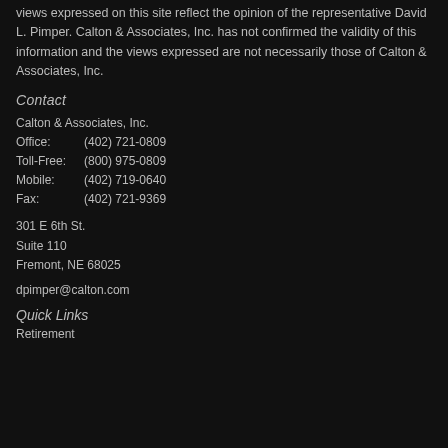views expressed on this site reflect the opinion of the representative David L. Pimper. Calton & Associates, Inc. has not confirmed the validity of this information and the views expressed are not necessarily those of Calton & Associates, Inc.
Contact
Calton & Associates, Inc.
Office: (402) 721-0809
Toll-Free: (800) 975-0809
Mobile: (402) 719-0640
Fax: (402) 721-9369
301 E 6th St.
Suite 110
Fremont, NE 68025
dpimper@calton.com
Quick Links
Retirement